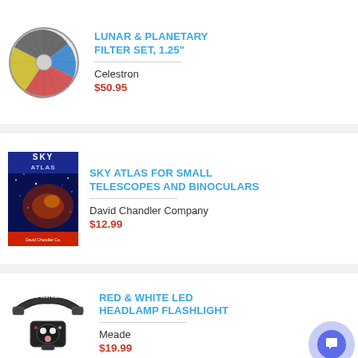[Figure (photo): Celestron Lunar & Planetary Filter Set circular package showing colored filters]
LUNAR & PLANETARY FILTER SET, 1.25"
Celestron
$50.95
[Figure (photo): Sky Atlas for Small Telescopes and Binoculars book cover with starfield image]
SKY ATLAS FOR SMALL TELESCOPES AND BINOCULARS
David Chandler Company
$12.99
[Figure (photo): Meade Instruments red & white LED headlamp flashlight with strap]
RED & WHITE LED HEADLAMP FLASHLIGHT
Meade
$19.99